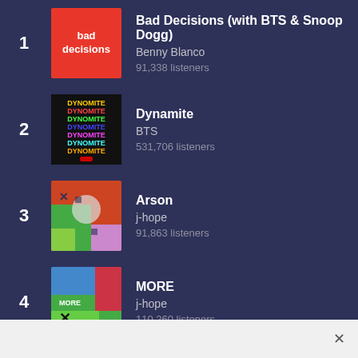1. Bad Decisions (with BTS & Snoop Dogg) — Benny Blanco — 91,338 listeners
2. Dynamite — BTS — 531,706 listeners
3. Arson — j-hope — 91,863 listeners
4. MORE — j-hope — 110,260 listeners
5. Pink Venom — BLACKPINK